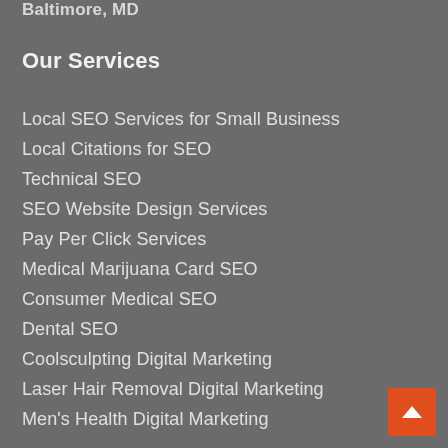Baltimore, MD
Our Services
Local SEO Services for Small Business
Local Citations for SEO
Technical SEO
SEO Website Design Services
Pay Per Click Services
Medical Marijuana Card SEO
Consumer Medical SEO
Dental SEO
Coolsculpting Digital Marketing
Laser Hair Removal Digital Marketing
Men's Health Digital Marketing